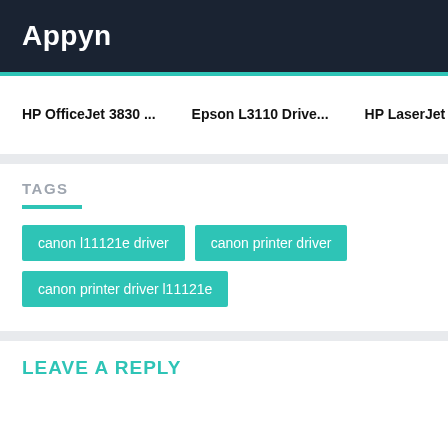Appyn
HP OfficeJet 3830 ...
Epson L3110 Drive...
HP LaserJet 1020 P...
TAGS
canon l11121e driver
canon printer driver
canon printer driver l11121e
LEAVE A REPLY